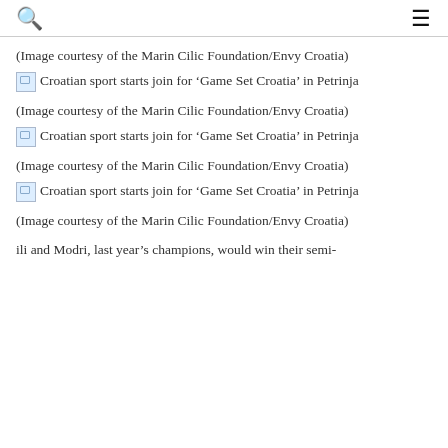🔍  ≡
(Image courtesy of the Marin Cilic Foundation/Envy Croatia)
[Figure (photo): Broken image placeholder with alt text: Croatian sport starts join for 'Game Set Croatia' in Petrinja]
(Image courtesy of the Marin Cilic Foundation/Envy Croatia)
[Figure (photo): Broken image placeholder with alt text: Croatian sport starts join for 'Game Set Croatia' in Petrinja]
(Image courtesy of the Marin Cilic Foundation/Envy Croatia)
[Figure (photo): Broken image placeholder with alt text: Croatian sport starts join for 'Game Set Croatia' in Petrinja]
(Image courtesy of the Marin Cilic Foundation/Envy Croatia)
ili and Modri, last year's champions, would win their semi-